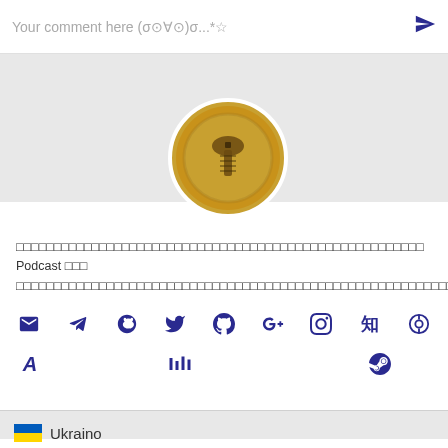Your comment here (σ⊙∀⊙)σ...*☆
[Figure (illustration): Circular profile avatar with golden/brown coloring showing a screw bolt icon on a textured background]
□□□□□□□□□□□□□□□□□□□□□□□□□□□□□□□□□□□□□□□□□□□□□□□□□□□□□□ Podcast □□□ □□□□□□□□□□□□□□□□□□□□□□□□□□□□□□□□□□□□□□□□□□□□□□□□□□□□□□□□□□□
[Figure (infographic): Row of social media icons: email, telegram, skype, twitter, github, google+, instagram, zhihu, netease music, and second row: academic, linkedin, steam]
Ukraino